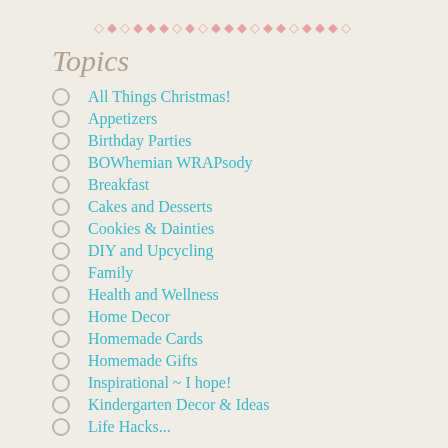◇◆◇◆◆◇◆◇◆◆◆◇◆◇◆◆◇◆◆◇
Topics
All Things Christmas!
Appetizers
Birthday Parties
BOWhemian WRAPsody
Breakfast
Cakes and Desserts
Cookies & Dainties
DIY and Upcycling
Family
Health and Wellness
Home Decor
Homemade Cards
Homemade Gifts
Inspirational ~ I hope!
Kindergarten Decor & Ideas
Life Hacks...